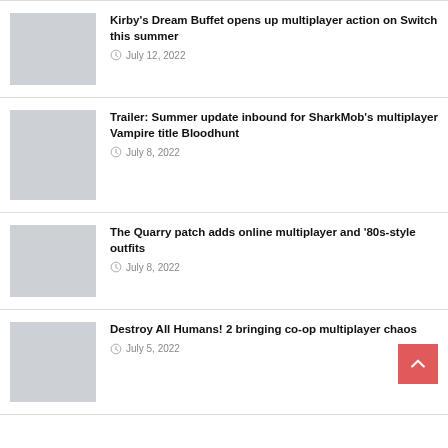[Figure (photo): Placeholder image thumbnail for Kirby's Dream Buffet article]
Kirby's Dream Buffet opens up multiplayer action on Switch this summer
July 12, 2022
[Figure (photo): Placeholder image thumbnail for SharkMob Bloodhunt article]
Trailer: Summer update inbound for SharkMob's multiplayer Vampire title Bloodhunt
July 8, 2022
[Figure (photo): Placeholder image thumbnail for The Quarry article]
The Quarry patch adds online multiplayer and '80s-style outfits
July 8, 2022
[Figure (photo): Placeholder image thumbnail for Destroy All Humans article]
Destroy All Humans! 2 bringing co-op multiplayer chaos
July 5, 2022